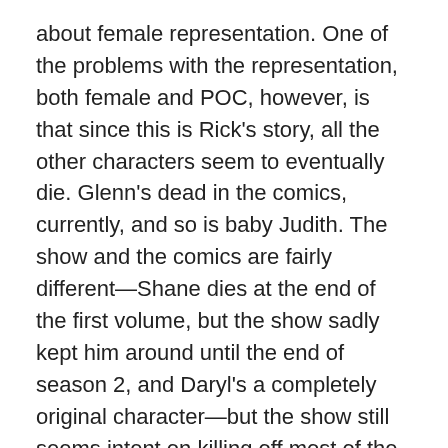about female representation. One of the problems with the representation, both female and POC, however, is that since this is Rick's story, all the other characters seem to eventually die. Glenn's dead in the comics, currently, and so is baby Judith. The show and the comics are fairly different—Shane dies at the end of the first volume, but the show sadly kept him around until the end of season 2, and Daryl's a completely original character—but the show still seems intent on killing off most of the cast.
Speaking of which, I get the impression from this new trailer that Sasha is one of the murder victims, since Tyrese seems to have a severe reaction to finding one of the bodies, and then he goes on to seem almost suicidal in grief. That's my prediction, at least.
Overall, everything seems to be becoming more desperate